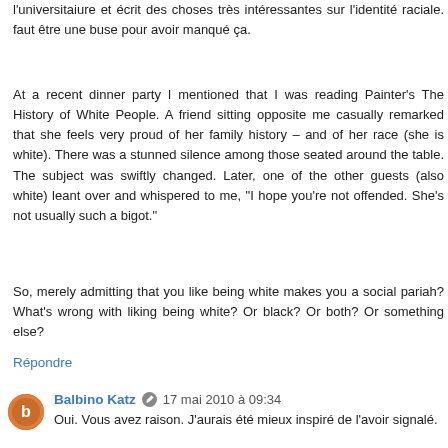l'universitaiure et écrit des choses très intéressantes sur l'identité raciale. faut être une buse pour avoir manqué ça.
At a recent dinner party I mentioned that I was reading Painter's The History of White People. A friend sitting opposite me casually remarked that she feels very proud of her family history – and of her race (she is white). There was a stunned silence among those seated around the table. The subject was swiftly changed. Later, one of the other guests (also white) leant over and whispered to me, "I hope you're not offended. She's not usually such a bigot."
So, merely admitting that you like being white makes you a social pariah? What's wrong with liking being white? Or black? Or both? Or something else?
Répondre
Balbino Katz  17 mai 2010 à 09:34
Oui. Vous avez raison. J'aurais été mieux inspiré de l'avoir signalé.